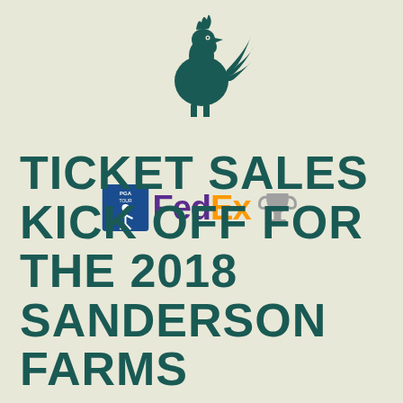[Figure (logo): Dark green rooster/chicken silhouette logo centered at the top of the page]
[Figure (logo): PGA Tour logo badge with golfer silhouette, FedEx text in purple and orange, and a trophy cup icon — FedEx Cup sponsor branding]
TICKET SALES KICK OFF FOR THE 2018 SANDERSON FARMS